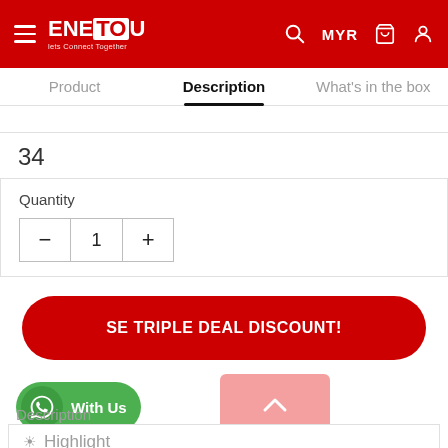ENETOU  MYR
Product  Description  What's in the box
34
Quantity  1
SE TRIPLE DEAL DISCOUNT!
With Us
Description
✦ Highlight